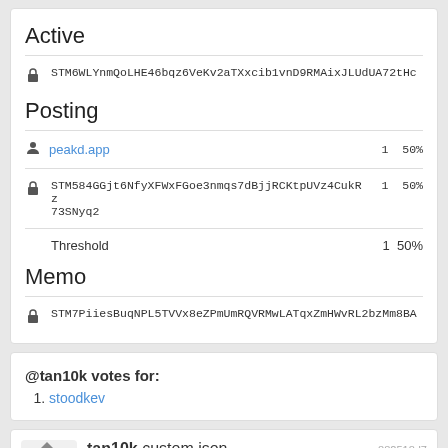Active
STM6WLYnmQoLHE46bqz6VeKv2aTXxcib1vnD9RMAixJLUdUA72tHc
Posting
peakd.app  1  50%
STM584GGjt6NfyXFWxFGoe3nmqs7dBjjRCKtpUVz4CukRz73SNyq2  1  50%
Threshold  1  50%
Memo
STM7PiiesBuqNPL5TVVx8eZPmUmRQVRMwLATqxZmHWvRL2bzMm8BA
@tan10k votes for:
stoodkev
tan10k custom json
| Field | Value |
| --- | --- |
| required_auths | 0. tan10k |
| required_posting_auths | [] |
| id | sm_market_rent |